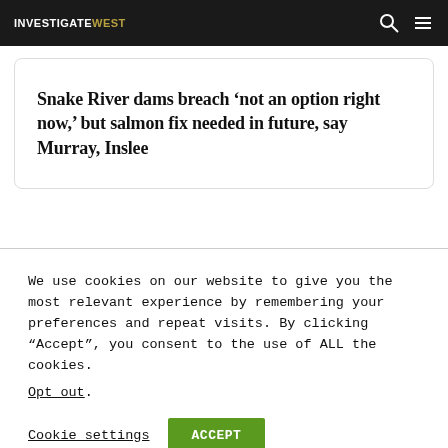INVESTIGATEWEST
Snake River dams breach ‘not an option right now,’ but salmon fix needed in future, say Murray, Inslee
We use cookies on our website to give you the most relevant experience by remembering your preferences and repeat visits. By clicking “Accept”, you consent to the use of ALL the cookies.
Opt out.
Cookie settings  ACCEPT